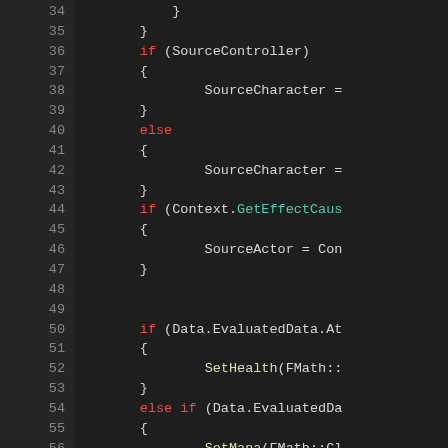[Figure (screenshot): Code editor screenshot showing C++ source code lines 34-57 with syntax highlighting on a dark background. Keywords 'if', 'else' are in red, method names like 'GetEffectCause', 'SetHealth', 'SetMana' are in yellow/teal, and identifiers are in white/gray.]